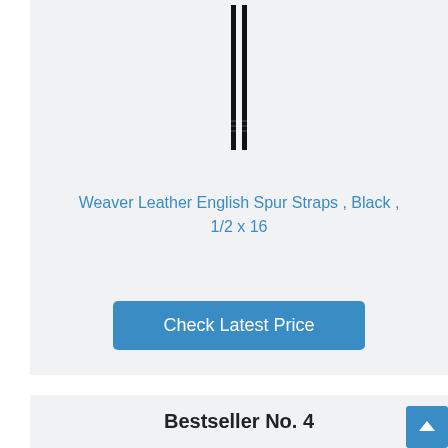[Figure (photo): Black leather English spur straps shown vertically against a light gray background]
Weaver Leather English Spur Straps , Black , 1/2 x 16
Check Latest Price
Bestseller No. 4
[Figure (photo): Partial image of a red product item at the bottom of the page]